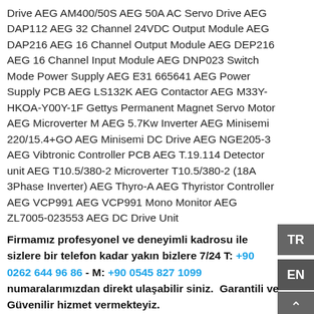Drive AEG AM400/50S AEG 50A AC Servo Drive AEG DAP112 AEG 32 Channel 24VDC Output Module AEG DAP216 AEG 16 Channel Output Module AEG DEP216 AEG 16 Channel Input Module AEG DNP023 Switch Mode Power Supply AEG E31 665641 AEG Power Supply PCB AEG LS132K AEG Contactor AEG M33Y-HKOA-Y00Y-1F Gettys Permanent Magnet Servo Motor AEG Microverter M AEG 5.7Kw Inverter AEG Minisemi 220/15.4+GO AEG Minisemi DC Drive AEG NGE205-3 AEG Vibtronic Controller PCB AEG T.19.114 Detector unit AEG T10.5/380-2 Microverter T10.5/380-2 (18A 3Phase Inverter) AEG Thyro-A AEG Thyristor Controller AEG VCP991 AEG VCP991 Mono Monitor AEG ZL7005-023553 AEG DC Drive Unit
Firmamız profesyonel ve deneyimli kadrosu ile sizlere bir telefon kadar yakın bizlere 7/24 T: +90 0262 644 96 86 - M: +90 0545 827 1099 numaralarımızdan direkt ulaşabilir siniz. Garantili ve Güvenilir hizmet vermekteyiz.